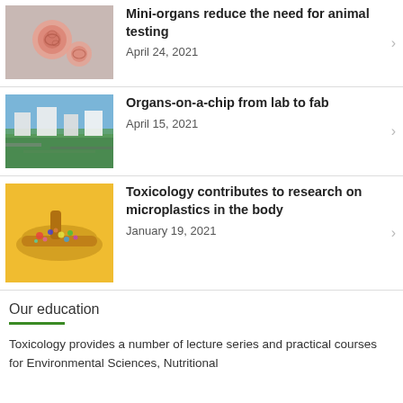Mini-organs reduce the need for animal testing — April 24, 2021
[Figure (photo): Microscope image of organoids (pink spherical cell clusters) on grey background]
Organs-on-a-chip from lab to fab — April 15, 2021
[Figure (photo): Aerial view of university campus with buildings, green trees, and roads]
Toxicology contributes to research on microplastics in the body — January 19, 2021
[Figure (photo): A wooden spoon filled with colorful microplastic particles on yellow background]
Our education
Toxicology provides a number of lecture series and practical courses for Environmental Sciences, Nutritional